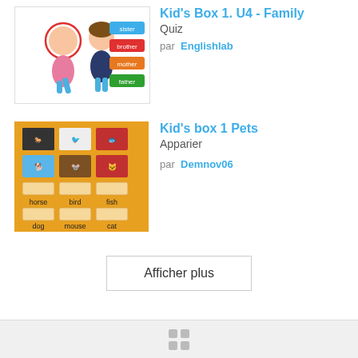[Figure (illustration): Thumbnail for Kid's Box 1 U4 Family Quiz showing two children and colored labels: sister (blue), brother (red), mother (orange), father (green)]
Kid's Box 1. U4 - Family
Quiz
par  Englishlab
[Figure (illustration): Thumbnail for Kid's box 1 Pets showing a matching activity with animal photos (horse, bird, fish, dog, mouse, cat) on orange/yellow background]
Kid's box 1 Pets
Apparier
par  Demnov06
Afficher plus